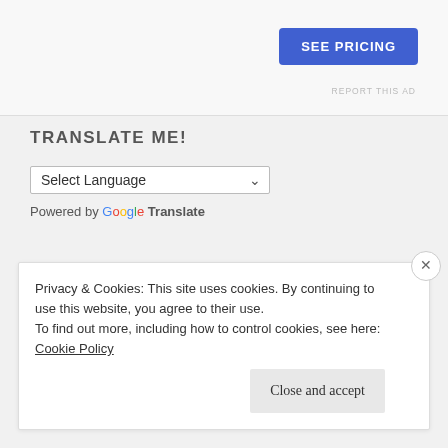[Figure (other): Blue 'SEE PRICING' button in top right area]
REPORT THIS AD
TRANSLATE ME!
[Figure (other): Select Language dropdown with chevron arrow]
Powered by Google Translate
FOLLOW US ON SOCIAL MEDIA!
[Figure (other): Social media icons: Facebook, Twitter, Instagram]
Privacy & Cookies: This site uses cookies. By continuing to use this website, you agree to their use.
To find out more, including how to control cookies, see here: Cookie Policy
Close and accept